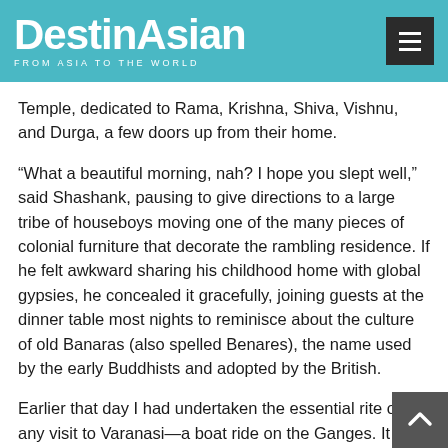DestinAsian — FROM ASIA TO THE WORLD
Temple, dedicated to Rama, Krishna, Shiva, Vishnu, and Durga, a few doors up from their home.
“What a beautiful morning, nah? I hope you slept well,” said Shashank, pausing to give directions to a large tribe of houseboys moving one of the many pieces of colonial furniture that decorate the rambling residence. If he felt awkward sharing his childhood home with global gypsies, he concealed it gracefully, joining guests at the dinner table most nights to reminisce about the culture of old Banaras (also spelled Benares), the name used by the early Buddhists and adopted by the British.
Earlier that day I had undertaken the essential rite of any visit to Varanasi—a boat ride on the Ganges. It was a blue morning and I was crossing Anandamayee Ghat on foot when a boatman called Hiro made landfall and asked if I’d like a ride. Hiro’s paddles were oblong slats of timber painted blue, attached to bamboo poles that left arcs of